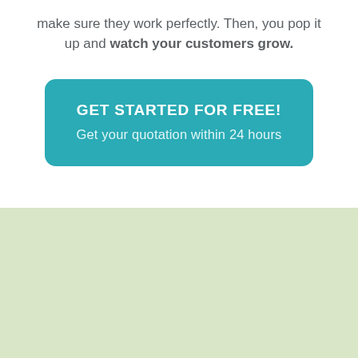make sure they work perfectly. Then, you pop it up and watch your customers grow.
[Figure (other): Teal/turquoise rounded rectangle call-to-action button with white text: 'GET STARTED FOR FREE!' and 'Get your quotation within 24 hours']
[Figure (other): Light sage green background section filling the bottom portion of the page]